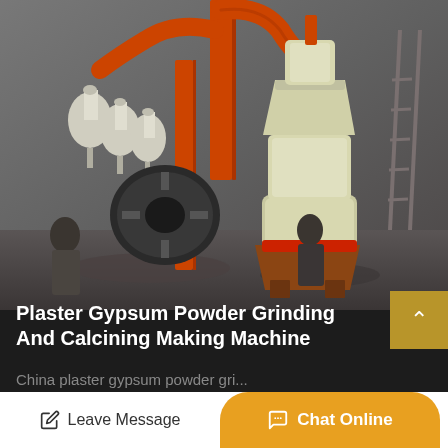[Figure (photo): Industrial photo of a plaster gypsum powder grinding and calcining machine installed in a concrete room. The machine features orange/red cylindrical piping and a cream/white conical grinding mill. Two workers are visible near the machine.]
Plaster Gypsum Powder Grinding And Calcining Making Machine
China plaster gypsum powder gri...
Leave Message
Chat Online